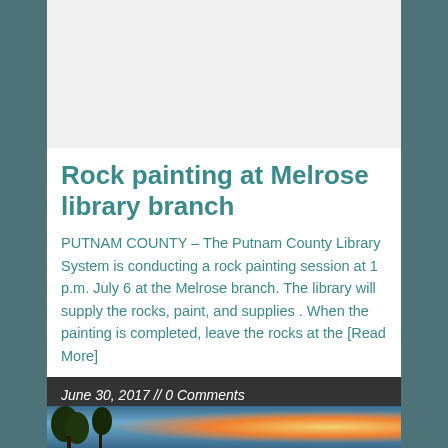[Figure (photo): Gray placeholder area at top of article, possibly an image placeholder or banner]
Rock painting at Melrose library branch
PUTNAM COUNTY – The Putnam County Library System is conducting a rock painting session at 1 p.m. July 6 at the Melrose branch. The library will supply the rocks, paint, and supplies . When the painting is completed, leave the rocks at the [Read More]
June 30, 2017 // 0 Comments
[Figure (photo): Partial photo showing palm tree silhouette against sky with fireworks burst (orange/pink/blue)]